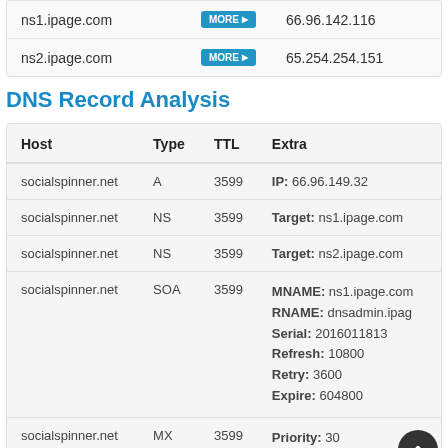| Host |  | IP |
| --- | --- | --- |
| ns1.ipage.com | MORE | 66.96.142.116 |
| ns2.ipage.com | MORE | 65.254.254.151 |
DNS Record Analysis
| Host | Type | TTL | Extra |
| --- | --- | --- | --- |
| socialspinner.net | A | 3599 | IP: 66.96.149.32 |
| socialspinner.net | NS | 3599 | Target: ns1.ipage.com |
| socialspinner.net | NS | 3599 | Target: ns2.ipage.com |
| socialspinner.net | SOA | 3599 | MNAME: ns1.ipage.com
RNAME: dnsadmin.ipage.com
Serial: 2016011813
Refresh: 10800
Retry: 3600
Expire: 604800 |
| socialspinner.net | MX | 3599 | Priority: 30
Target: mx.socialspinner.net |